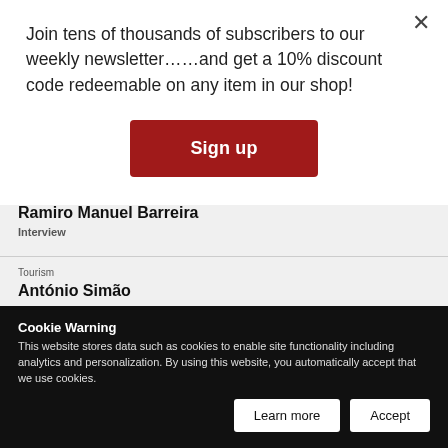Join tens of thousands of subscribers to our weekly newsletter……and get a 10% discount code redeemable on any item in our shop!
Sign up
Tourism
Ramiro Manuel Barreira
Interview
Tourism
António Simão
Interview
Cookie Warning
This website stores data such as cookies to enable site functionality including analytics and personalization. By using this website, you automatically accept that we use cookies.
Learn more
Accept
Tourism
Afonso Vita